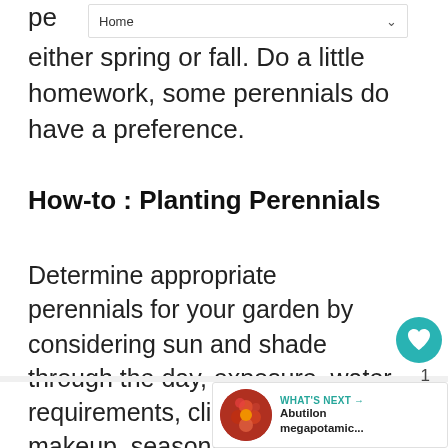Home
pe… either spring or fall. Do a little homework, some perennials do have a preference.
How-to : Planting Perennials
Determine appropriate perennials for your garden by considering sun and shade through the day, exposure, water requirements, climate, soil makeup, seasonal color desired, and position of other garden plants and trees.
[Figure (other): What's Next button with Abutilon megapotamic... thumbnail and share/like buttons]
WHAT'S NEXT → Abutilon megapotamic...